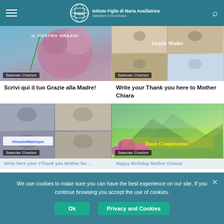FMA – Istituto Figlie di Maria Ausiliatrice, Salesiane di Don Bosco
[Figure (photo): Pink flower on blue background with text 'IL NOSTRO GRAZIE!' overlaid; Salesian Charism badge]
[Figure (photo): Collage of people photos with script text 'Grazie Madre' overlaid; Salesian Charism badge]
Scrivi qui il tuo Grazie alla Madre!
Write your Thank you here to Mother Chiara
[Figure (photo): Collage of group photos with #GrazieMadreper hashtag; Salesian Charism badge]
[Figure (photo): Mountain landscape with flowers and 'Buon Compleanno!' script text; Salesian Charism badge]
Write here your #Thank you Mother for…
Happy Birthday Mother Chiara!
We use cookies to make sure you can have the best experience on our site. If you continue browsing you accept the use of cookies.
Ok
Privacy and Cookies